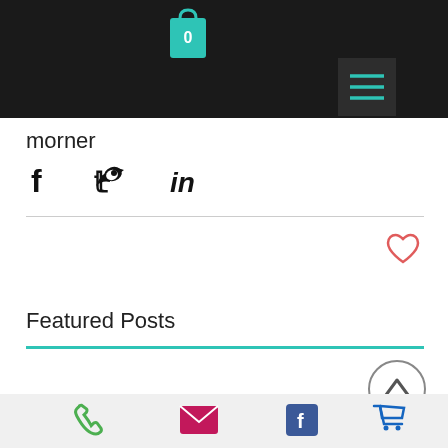[Figure (screenshot): Dark navigation header bar with teal shopping bag icon showing 0, and hamburger menu button with teal lines]
morner
[Figure (infographic): Social share icons: Facebook f, Twitter bird, LinkedIn in]
[Figure (infographic): Heart/like icon (outline, coral/red color)]
Featured Posts
[Figure (infographic): Up chevron arrow in circle outline]
Posts are coming
Phone icon, Email icon, Facebook icon, Cart icon